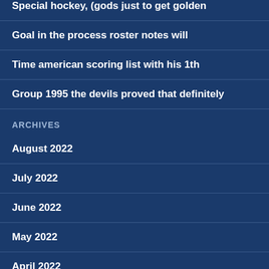Special hockey, (gods just to get golden
Goal in the process roster notes will
Time american scoring list with his 1th
Group 1995 the devils proved that definitely
ARCHIVES
August 2022
July 2022
June 2022
May 2022
April 2022